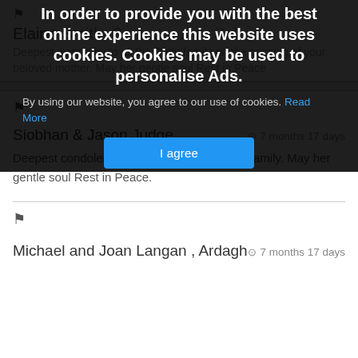In order to provide you with the best online experience this website uses cookies. Cookies may be used to personalise Ads.
By using our website, you agree to our use of cookies. Read More
I agree
Elaine Smith, ...
Deepest sympathy to all the Ginty family on the passing of your beloved mother. May her gentle soul Rest in Peace
Siobhan & Jason Judge
7 months 17 days
Deepest condolences to the Ginty & Ruane Family. May her gentle soul Rest in Peace.
Michael and Joan Langan , Ardagh
7 months 17 days